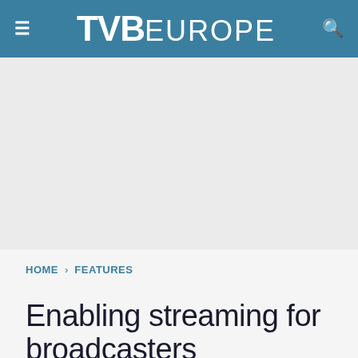TVB EUROPE
[Figure (other): Advertisement placeholder area, light grey background]
HOME › FEATURES
Enabling streaming for broadcasters